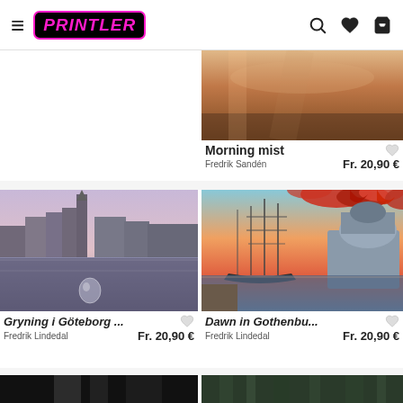Printler - navigation header with hamburger menu, logo, search, wishlist, and cart icons
[Figure (photo): Partial photo of Morning mist artwork - warm toned atmospheric image]
Morning mist
Fredrik Sandén    Fr. 20,90 €
[Figure (photo): Gryning i Göteborg - cityscape of Gothenburg at dawn with canal reflection and church tower]
Gryning i Göteborg ...
Fredrik Lindedal    Fr. 20,90 €
[Figure (photo): Dawn in Gothenburg - sailing ship in harbor at sunset with red autumn leaves framing]
Dawn in Gothenbu...
Fredrik Lindedal    Fr. 20,90 €
[Figure (photo): Dark abstract black and white image - partial view at bottom]
[Figure (photo): Dark forest image - partial view at bottom]